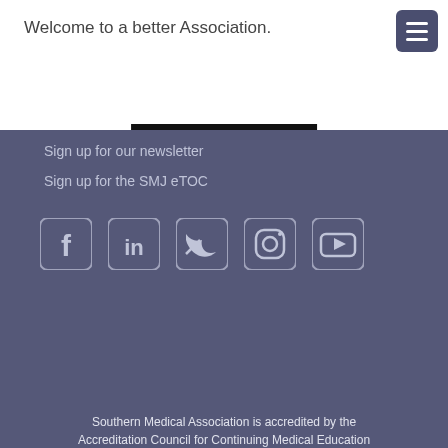Welcome to a better Association.
Subscribe
Sign up for our newsletter
Sign up for the SMJ eTOC
[Figure (infographic): Social media icons: Facebook, LinkedIn, Twitter, Instagram, YouTube]
Southern Medical Association is accredited by the Accreditation Council for Continuing Medical Education (ACCME) to provide continuing medical education for physicians.
©2022 Southern Medical Association, all rights reserved. Southern Medical Association is a 501(c)3 Non-Profit organization. EIN: 63-0196615.